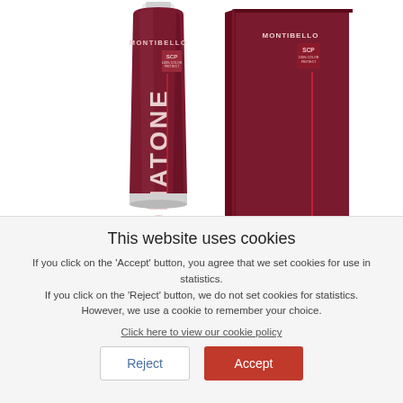[Figure (photo): Product photo of Montibello Cromatone hair colouring cream tube and box in dark burgundy/maroon color, showing SCP 100% Color Protect branding and 1+1 formula label. Two products shown side by side on white background.]
This website uses cookies
If you click on the 'Accept' button, you agree that we set cookies for use in statistics. If you click on the 'Reject' button, we do not set cookies for statistics. However, we use a cookie to remember your choice.
Click here to view our cookie policy
Reject
Accept